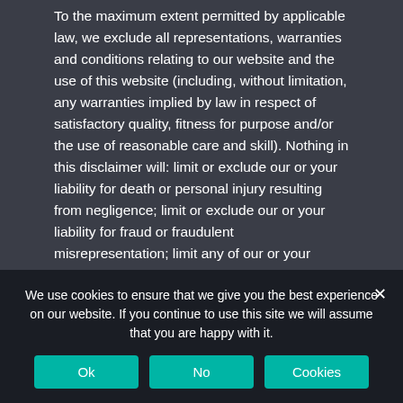To the maximum extent permitted by applicable law, we exclude all representations, warranties and conditions relating to our website and the use of this website (including, without limitation, any warranties implied by law in respect of satisfactory quality, fitness for purpose and/or the use of reasonable care and skill). Nothing in this disclaimer will: limit or exclude our or your liability for death or personal injury resulting from negligence; limit or exclude our or your liability for fraud or fraudulent misrepresentation; limit any of our or your liabilities in any way that is not permitted under applicable law; or exclude any of our or your liabilities that may not
We use cookies to ensure that we give you the best experience on our website. If you continue to use this site we will assume that you are happy with it.